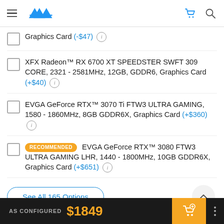AVA (logo), hamburger menu, cart icon, search icon
Graphics Card (-$47) [info]
XFX Radeon™ RX 6700 XT SPEEDSTER SWFT 309 CORE, 2321 - 2581MHz, 12GB, GDDR6, Graphics Card (+$40) [info]
EVGA GeForce RTX™ 3070 Ti FTW3 ULTRA GAMING, 1580 - 1860MHz, 8GB GDDR6X, Graphics Card (+$360) [info]
[RECOMMENDED] EVGA GeForce RTX™ 3080 FTW3 ULTRA GAMING LHR, 1440 - 1800MHz, 10GB GDDR6X, Graphics Card (+$651) [info]
See All 165 Options
Quantity: 1
AS CONFIGURED $1849